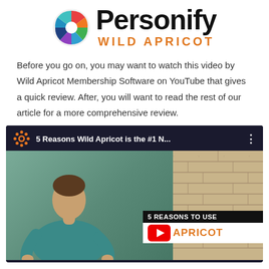[Figure (logo): Personify Wild Apricot logo with colorful circular icon and bold text 'Personify' above 'WILD APRICOT' in orange]
Before you go on, you may want to watch this video by Wild Apricot Membership Software on YouTube that gives a quick review. After, you will want to read the rest of our article for a more comprehensive review.
[Figure (screenshot): YouTube video thumbnail showing '5 Reasons Wild Apricot is the #1 N...' with a man in a teal shirt speaking, overlay showing '5 REASONS TO USE APRICOT' and YouTube play button]